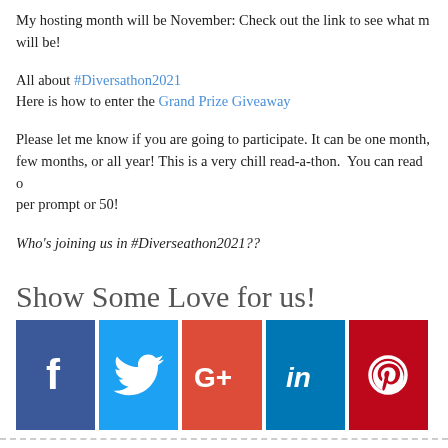My hosting month will be November: Check out the link to see what my month will be!
All about #Diversathon2021
Here is how to enter the Grand Prize Giveaway
Please let me know if you are going to participate. It can be one month, a few months, or all year! This is a very chill read-a-thon. You can read one book per prompt or 50!
Who's joining us in #Diverseathon2021??
Show Some Love for us!
[Figure (infographic): Five social media share buttons: Facebook (dark blue), Twitter (light blue), Google+ (red-orange), LinkedIn (blue), Pinterest (dark red), each with their respective icons in white.]
Tags: Diverseathon2021, read-a-thon
Comments are closed.